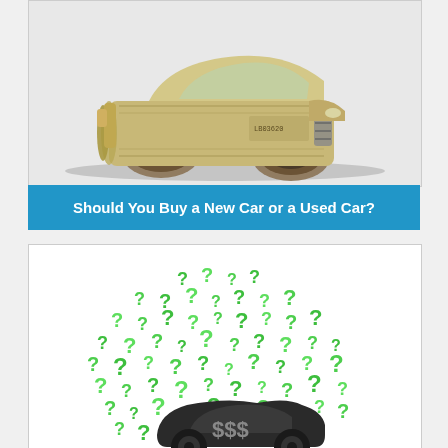[Figure (illustration): A car shape made from rolled US dollar bills and currency notes, viewed from the side on a white background]
Should You Buy a New Car or a Used Car?
[Figure (illustration): A dark cartoon car silhouette with '$$$' text on it, surrounded by a dome/arch of green 3D question mark symbols piled on top]